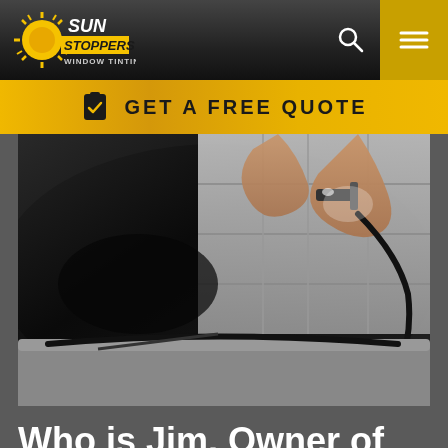Sun Stoppers Window Tinting
GET A FREE QUOTE
[Figure (photo): Close-up photo of a technician applying window tint film to a car windshield, hands visible holding a tool against dark tinted glass]
Who is Jim, Owner of Sun Stoppers Burnsville?